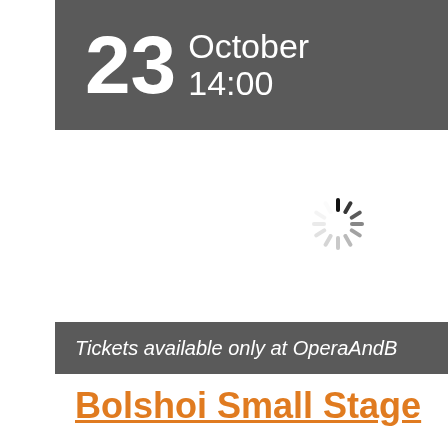23 October 14:00
[Figure (other): Loading spinner / activity indicator graphic in gray]
Tickets available only at OperaAndB
Bolshoi Small Stage
S...